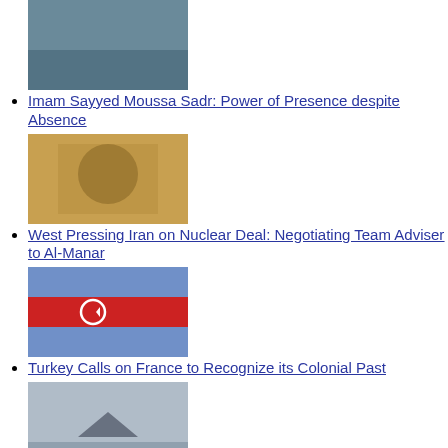Imam Sayyed Moussa Sadr: Power of Presence despite Absence
West Pressing Iran on Nuclear Deal: Negotiating Team Adviser to Al-Manar
Turkey Calls on France to Recognize its Colonial Past
US Says Sending Fighter Aircraft to Ukraine on Table
Speaker Berri Blasts US Mediator's Procrastination: If Lebanon's Sovereignty Gets Threatened, We'll Defend Our Rights